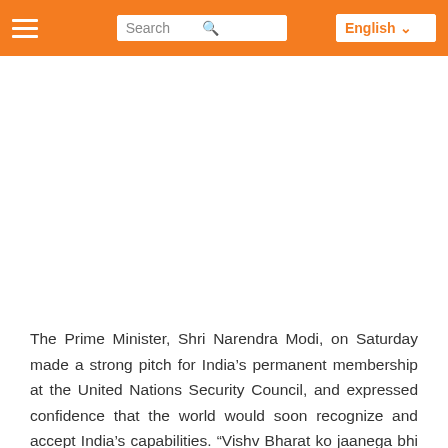Search | English
[Figure (photo): Large image area (white/blank) below the orange navigation header bar]
The Prime Minister, Shri Narendra Modi, on Saturday made a strong pitch for India’s permanent membership at the United Nations Security Council, and expressed confidence that the world would soon recognize and accept India’s capabilities. “Vishv Bharat ko jaanega bhi aur maanega bhi,” the Prime Minister asserted, in